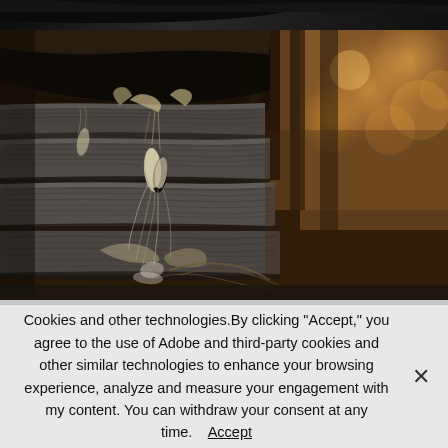[Figure (photo): Two photographs of tree bark with dried seed pods and plant debris. Top strip shows a dark image of a branch. Main photo shows close-up of deeply textured bark with dried milkweed or similar seed pods hanging, with warm bokeh background of autumn trees.]
Cookies and other technologies.By clicking "Accept," you agree to the use of Adobe and third-party cookies and other similar technologies to enhance your browsing experience, analyze and measure your engagement with my content. You can withdraw your consent at any time.    Accept